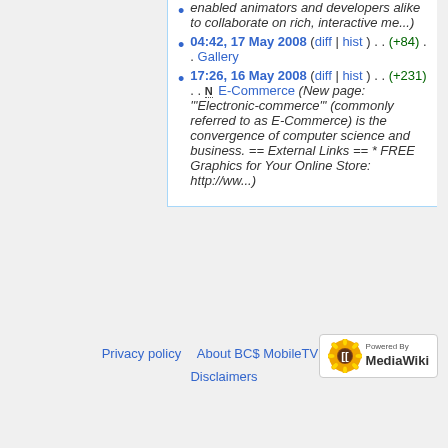enabled animators and developers alike to collaborate on rich, interactive me...)
04:42, 17 May 2008 (diff | hist) . . (+84) . . Gallery
17:26, 16 May 2008 (diff | hist) . . (+231) . . N E-Commerce (New page: '"Electronic-commerce"' (commonly referred to as E-Commerce) is the convergence of computer science and business. == External Links == * FREE Graphics for Your Online Store: http://ww...)
Privacy policy   About BC$ MobileTV Wiki   Disclaimers